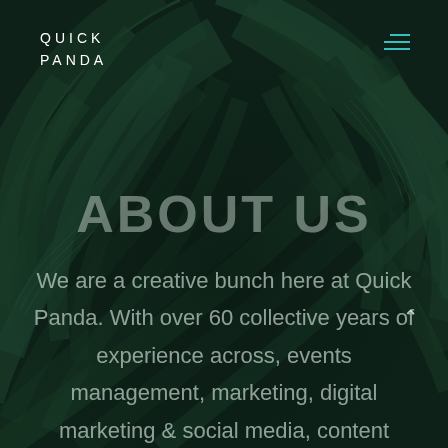[Figure (illustration): Dark green tropical palm leaves background filling the entire page]
QUICK PANDA
ABOUT US
We are a creative bunch here at Quick Panda. With over 60 collective years of experience across, events management, marketing, digital marketing & social media, content creation,